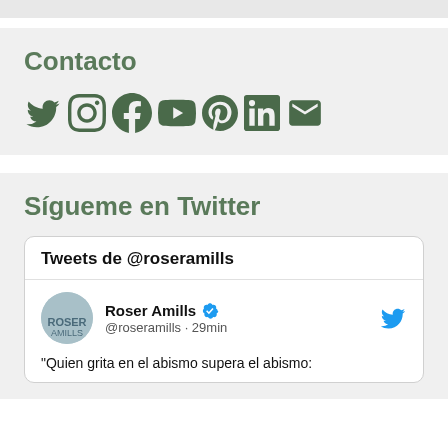Contacto
[Figure (infographic): Social media icons: Twitter, Instagram, Facebook, YouTube, Pinterest, LinkedIn, Email in dark green color]
Sígueme en Twitter
Tweets de @roseramills
Roser Amills @roseramills · 29min
"Quien grita en el abismo supera el abismo: